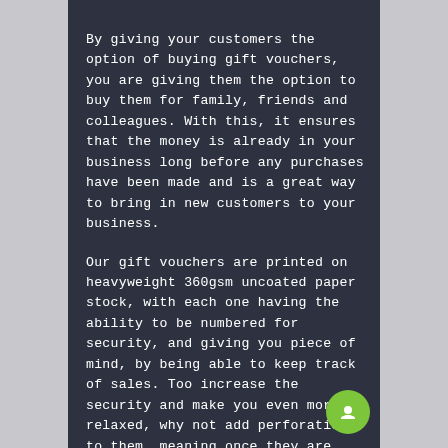By giving your customers the option of buying gift vouchers, you are giving them the option to buy them for family, friends and colleagues. With this, it ensures that the money is already in your business long before any purchases have been made and is a great way to bring in new customers to your business.
Our gift vouchers are printed on heavyweight 360gsm uncoated paper stock, with each one having the ability to be numbered for security, and giving you piece of mind, by being able to keep track of sales. Too increase the security and make you even more relaxed, why not add perforation to them, meaning once they are torn, they are voided from being used again.